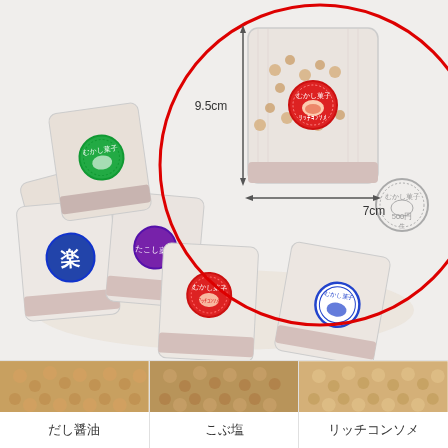[Figure (photo): Product photo of small snack bags in a basket, with a red circle highlighting one bag showing dimensions 9.5cm height and 7cm width. Various colored round stickers on bags. A grey circular stamp showing 500 yen is visible at right.]
[Figure (photo): Three small thumbnail images of snack products showing textures: dashi soy sauce flavor, kelp salt flavor, and rich consommé flavor]
だし醤油
こぶ塩
リッチコンソメ